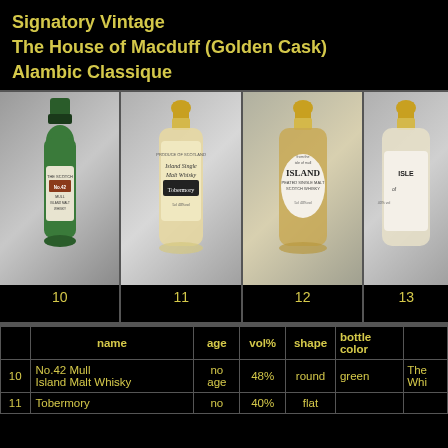Signatory Vintage
The House of Macduff (Golden Cask)
Alambic Classique
[Figure (photo): Four miniature Scotch whisky bottles numbered 10-13. Bottle 10: green round bottle with SMWS label, No.42 Mull Island Malt Whisky. Bottle 11: flat clear bottle, Tobermory Island Single Malt Whisky. Bottle 12: flat clear bottle, Island Peated Single Malt Scotch Whisky. Bottle 13: flat clear bottle, Islay Single Malt (partially visible).]
|  | name | age | vol% | shape | bottle color |  |
| --- | --- | --- | --- | --- | --- | --- |
| 10 | No.42 Mull Island Malt Whisky | no age | 48% | round | green | The Whi |
| 11 | Tobermory | no | 40% | flat |  |  |